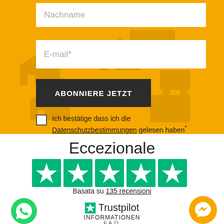Nachname
E-mail*
ABONNIERE JETZT
Ich bestätige dass ich die Datenschutzbestimmungen gelesen haben*
Eccezionale
[Figure (other): Five green Trustpilot star rating boxes with white stars]
Basata su 135 recensioni
[Figure (logo): Trustpilot logo with black star and text 'Trustpilot']
INFORMATIONEN
F.A.Q.
GESCHENKKARTE
[Figure (other): Green WhatsApp button icon on bottom left]
[Figure (other): Yellow Messenger button icon on bottom right]